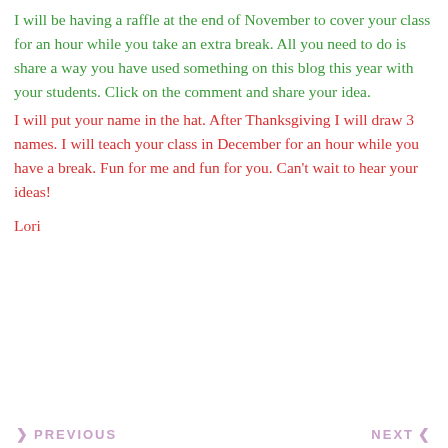I will be having a raffle at the end of November to cover your class for an hour while you take an extra break. All you need to do is share a way you have used something on this blog this year with your students. Click on the comment and share your idea.
I will put your name in the hat. After Thanksgiving I will draw 3 names. I will teach your class in December for an hour while you have a break. Fun for me and fun for you. Can't wait to hear your ideas!
Lori
PREVIOUS   NEXT